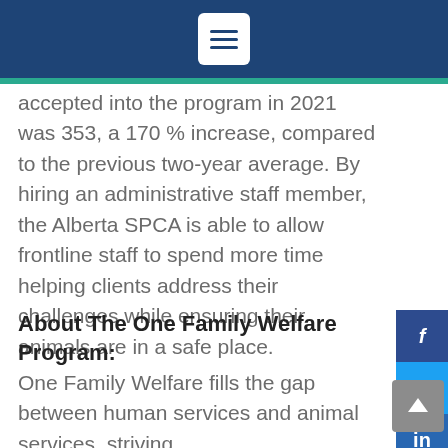[hamburger menu icon]
accepted into the program in 2021 was 353, a 170 % increase, compared to the previous two-year average. By hiring an administrative staff member, the Alberta SPCA is able to allow frontline staff to spend more time helping clients address their challenges while ensuring their animals are in a safe place.
About The One Family Welfare Program:
One Family Welfare fills the gap between human services and animal services, striving